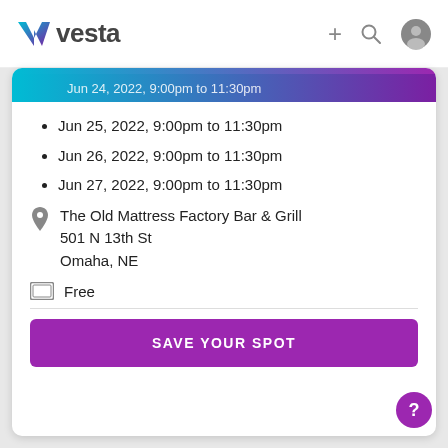vesta
Jun 24, 2022, 9:00pm to 11:30pm
Jun 25, 2022, 9:00pm to 11:30pm
Jun 26, 2022, 9:00pm to 11:30pm
Jun 27, 2022, 9:00pm to 11:30pm
The Old Mattress Factory Bar & Grill
501 N 13th St
Omaha, NE
Free
SAVE YOUR SPOT